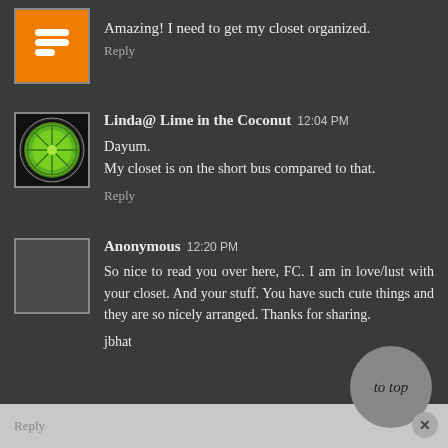Amazing! I need to get my closet organized.
Reply
Linda@ Lime in the Coconut 12:04 PM
Dayum.
My closet is on the short bus compared to that.
Reply
Anonymous 12:20 PM
So nice to read you over here, FC. I am in love/lust with your closet. And your stuff. You have such cute things and they are so nicely arranged. Thanks for sharing.

jbhat
Reply
[Figure (illustration): Orange circular Blogger logo icon with minus/dash symbol]
[Figure (photo): Lime slice (green citrus) on black background, circular avatar]
[Figure (illustration): Gray/empty anonymous avatar box]
to top